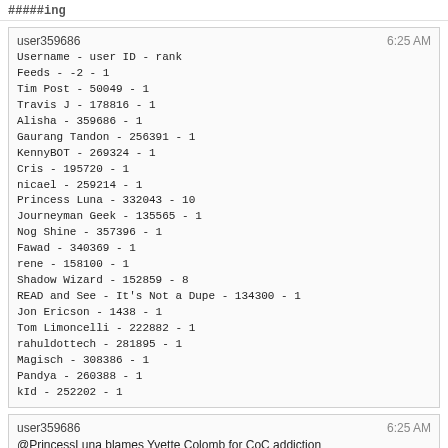#####ing
user359686
Username - user ID - rank
Feeds - -2 - 1
Tim Post - 50049 - 1
Travis J - 178816 - 1
Alisha - 359686 - 1
Gaurang Tandon - 256391 - 1
KennyBOT - 269324 - 1
Cris - 195720 - 1
nicael - 259214 - 1
Princess Luna - 332043 - 10
Journeyman Geek - 135565 - 1
Nog Shine - 357396 - 1
Fawad - 340369 - 1
rene - 158100 - 1
Shadow Wizard - 152859 - 8
READ and See - It's Not a Dupe - 134300 - 1
Jon Ericson - 1438 - 1
Tom Limoncelli - 222882 - 1
rahuldottech - 281895 - 1
Magisch - 308386 - 1
Pandya - 260388 - 1
kId - 252202 - 1
6:25 AM
user359686
@PrincessLuna blames Yvette Colomb for CoC addiction
6:25 AM
user359686
@PrincessLuna blames Shog9 for CoC addiction
6:25 AM
kId
@PrincessLuna lol
6:25 AM